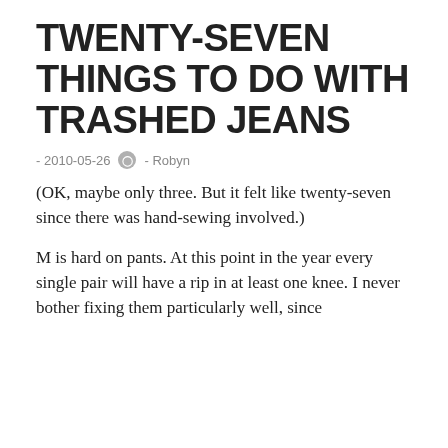TWENTY-SEVEN THINGS TO DO WITH TRASHED JEANS
- 2010-05-26  - Robyn
(OK, maybe only three. But it felt like twenty-seven since there was hand-sewing involved.)
M is hard on pants. At this point in the year every single pair will have a rip in at least one knee. I never bother fixing them particularly well, since